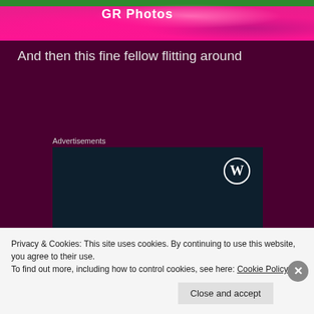[Figure (photo): Pink flower photo strip at top of page with partial text/logo overlay reading something like 'GR Photos']
And then this fine fellow flitting around
Advertisements
[Figure (illustration): WordPress advertisement banner with dark navy background, WordPress logo (W in circle) in top right, text reads 'Opinions. We all have them!']
Privacy & Cookies: This site uses cookies. By continuing to use this website, you agree to their use. To find out more, including how to control cookies, see here: Cookie Policy
Close and accept